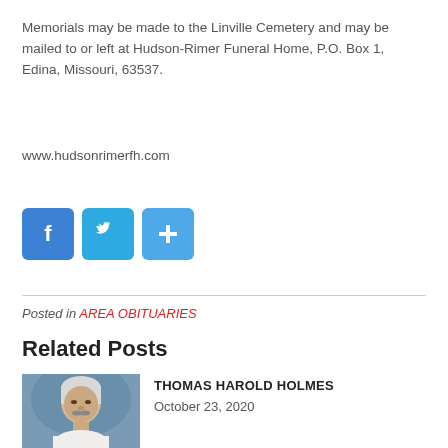Memorials may be made to the Linville Cemetery and may be mailed to or left at Hudson-Rimer Funeral Home, P.O. Box 1, Edina, Missouri, 63537.
www.hudsonrimerfh.com
[Figure (infographic): Three social media sharing buttons: Facebook (blue, f logo), Twitter (blue, bird logo), and a generic share button (blue, plus/cross logo)]
Posted in AREA OBITUARIES
Related Posts
[Figure (photo): Portrait photo of an elderly white-haired man with a mustache wearing a white shirt, against a blue background]
THOMAS HAROLD HOLMES
October 23, 2020